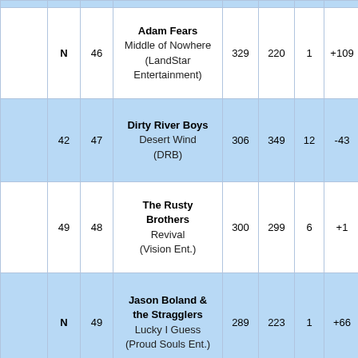|  |  | # | Artist / Album (Label) |  |  |  |  |  |
| --- | --- | --- | --- | --- | --- | --- | --- | --- |
|  | N | 46 | Adam Fears
Middle of Nowhere
(LandStar Entertainment) | 329 | 220 | 1 | +109 | 30 |
|  | 42 | 47 | Dirty River Boys
Desert Wind
(DRB) | 306 | 349 | 12 | -43 | 32 |
|  | 49 | 48 | The Rusty Brothers
Revival
(Vision Ent.) | 300 | 299 | 6 | +1 | 29 |
|  | N | 49 | Jason Boland & the Stragglers
Lucky I Guess
(Proud Souls Ent.) | 289 | 223 | 1 | +66 | 30 |
|  | N | 50 | ... | 300 | 300 | 1 | -15 | 44 |